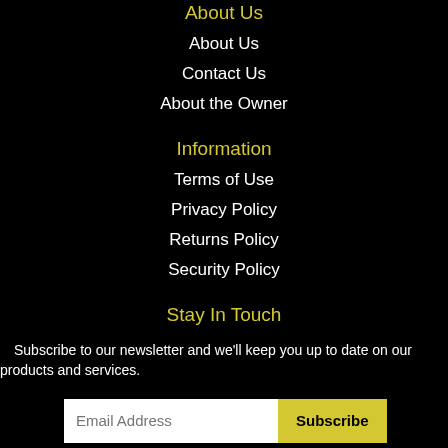About Us
About Us
Contact Us
About the Owner
Information
Terms of Use
Privacy Policy
Returns Policy
Security Policy
Stay In Touch
Subscribe to our newsletter and we'll keep you up to date on our products and services.
Email Address  Subscribe